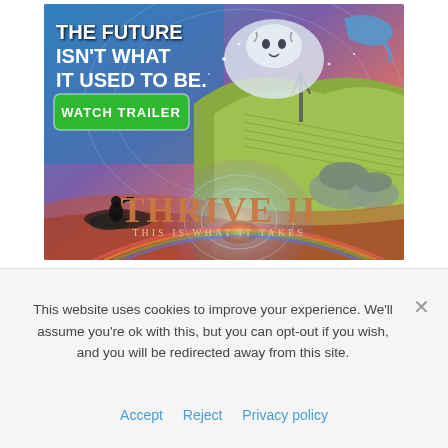[Figure (illustration): THRIVE II movie promotional banner with colorful fantasy imagery including a white tiger, dolphin, rolling hills, dome structures, and a child silhouette. Bold white text reads 'THE FUTURE ISN'T WHAT IT USED TO BE.' with a green 'WATCH TRAILER' button. Bottom shows the movie title 'THRIVE II THIS IS WHAT IT TAKES' in bronze/gold lettering over a glowing orb.]
This website uses cookies to improve your experience. We'll assume you're ok with this, but you can opt-out if you wish, and you will be redirected away from this site.
Accept   Reject   Privacy policy